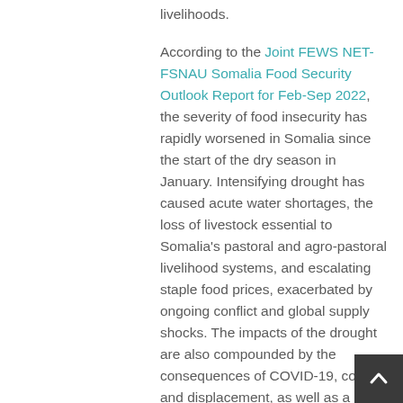livelihoods.
According to the Joint FEWS NET-FSNAU Somalia Food Security Outlook Report for Feb-Sep 2022, the severity of food insecurity has rapidly worsened in Somalia since the start of the dry season in January. Intensifying drought has caused acute water shortages, the loss of livestock essential to Somalia's pastoral and agro-pastoral livelihood systems, and escalating staple food prices, exacerbated by ongoing conflict and global supply shocks. The impacts of the drought are also compounded by the consequences of COVID-19, conflict, and displacement, as well as a severe desert locust upsurge through 2020 and 2021.